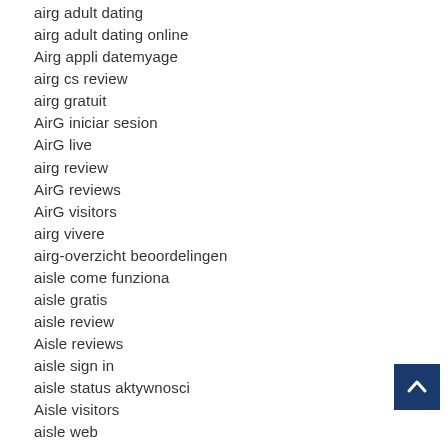airg adult dating
airg adult dating online
Airg appli datemyage
airg cs review
airg gratuit
AirG iniciar sesion
AirG live
airg review
AirG reviews
AirG visitors
airg vivere
airg-overzicht beoordelingen
aisle come funziona
aisle gratis
aisle review
Aisle reviews
aisle sign in
aisle status aktywnosci
Aisle visitors
aisle web
akron eros escort
akron escort radar detector
akron the escort
Alabama payday loans
Alabama payday loans online